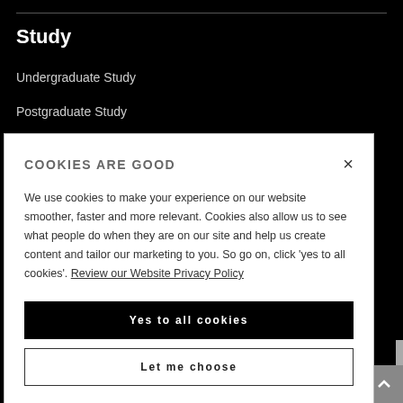Study
Undergraduate Study
Postgraduate Study
COOKIES ARE GOOD
We use cookies to make your experience on our website smoother, faster and more relevant. Cookies also allow us to see what people do when they are on our site and help us create content and tailor our marketing to you. So go on, click 'yes to all cookies'. Review our Website Privacy Policy
Yes to all cookies
Let me choose
Charitable Status